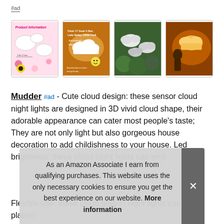#ad
[Figure (photo): Four product images of cloud-shaped night lights: product info card with pink background, warm glowing cloud light on dark background, white cloud shapes on green moss background, cloud night light in warm orange glow.]
Mudder #ad - Cute cloud design: these sensor cloud night lights are designed in 3D vivid cloud shape, their adorable appearance can cater most people's taste; They are not only light but also gorgeous house decoration to add childishness to your house. Led brightness: these cloud night lights can emit soft and warm light in a moderate brightness able people to sleep well, and won't disturb your sleep. The sensor can automatically turn on in the dark and turn off to the light.
Flexible use: these cloud plug-in night lights can be placed
As an Amazon Associate I earn from qualifying purchases. This website uses the only necessary cookies to ensure you get the best experience on our website. More information